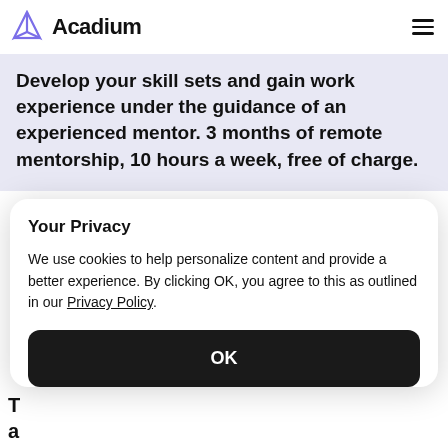Acadium
Develop your skill sets and gain work experience under the guidance of an experienced mentor. 3 months of remote mentorship, 10 hours a week, free of charge.
Your Privacy
We use cookies to help personalize content and provide a better experience. By clicking OK, you agree to this as outlined in our Privacy Policy.
OK
you need to understand why they're asked in